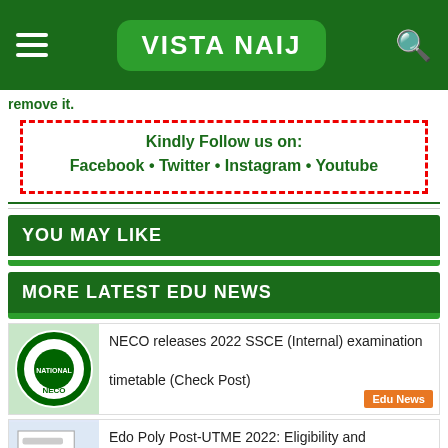VISTA NAIJ
remove it.
Kindly Follow us on:
Facebook • Twitter • Instagram • Youtube
YOU MAY LIKE
MORE LATEST EDU NEWS
NECO releases 2022 SSCE (Internal) examination timetable (Check Post)
Edu News
Edo Poly Post-UTME 2022: Eligibility and Registration Details (See Details)